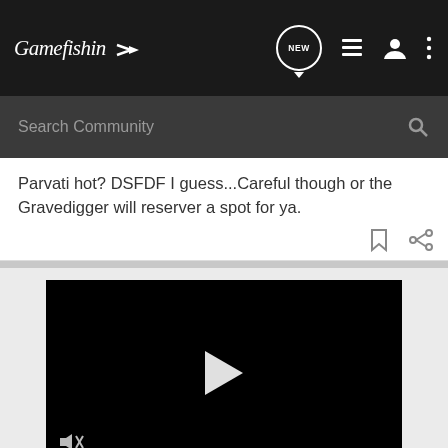Gamefishin [logo with arrow] — navigation bar with NEW, list, user, dots icons
Search Community
Parvati hot? DSFDF I guess...Careful though or the Gravedigger will reserver a spot for ya.
[Figure (screenshot): Video player with black background and white play button triangle, mute icon in bottom-left corner]
[Figure (photo): Advertisement banner: red background with text YOUR NEW FAVORITE SPORT, EXPLORE HOW TO RESPONSIBLY PARTICIPATE IN THE SHOOTING SPORTS. START HERE! button, and S logo on right. Left side shows partial photo of people.]